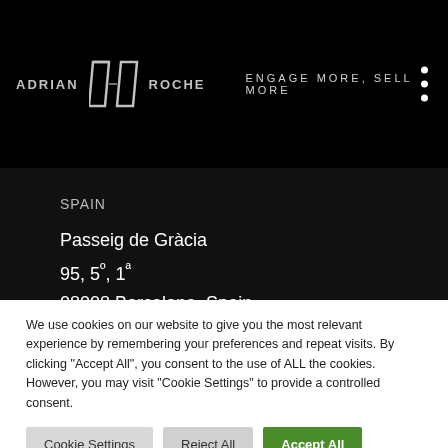ADRIAN ROCHE — ENGAGE MORE, SELL MORE
SPAIN
Passeig de Gràcia
95, 5º, 1ª
08008 Barcelona, Spain
Tel: +34 93 144 4818
We use cookies on our website to give you the most relevant experience by remembering your preferences and repeat visits. By clicking "Accept All", you consent to the use of ALL the cookies. However, you may visit "Cookie Settings" to provide a controlled consent.